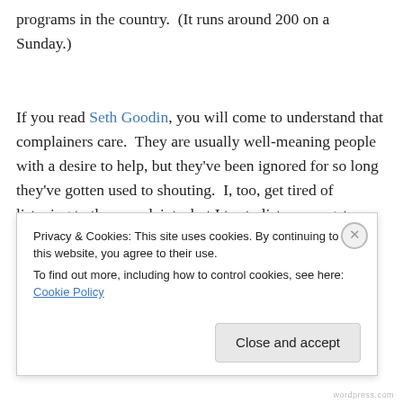programs in the country.  (It runs around 200 on a Sunday.)
If you read Seth Goodin, you will come to understand that complainers care.  They are usually well-meaning people with a desire to help, but they've been ignored for so long they've gotten used to shouting.  I, too, get tired of listening to the complaints, but I try to listen – or get a
Privacy & Cookies: This site uses cookies. By continuing to use this website, you agree to their use.
To find out more, including how to control cookies, see here: Cookie Policy
Close and accept